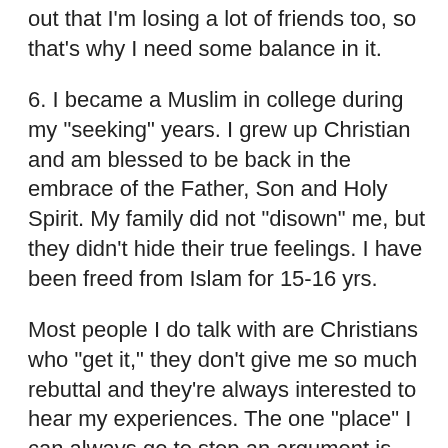out that I'm losing a lot of friends too, so that's why I need some balance in it.
6. I became a Muslim in college during my "seeking" years. I grew up Christian and am blessed to be back in the embrace of the Father, Son and Holy Spirit. My family did not "disown" me, but they didn't hide their true feelings. I have been freed from Islam for 15-16 yrs.
Most people I do talk with are Christians who "get it," they don't give me so much rebuttal and they're always interested to hear my experiences. The one "place" I can always go to stop an argument is, "Who are you to tell me my experiences?"